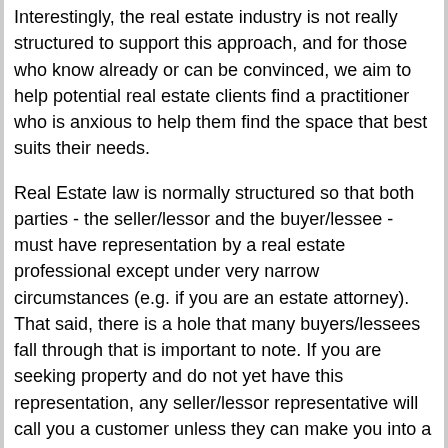Interestingly, the real estate industry is not really structured to support this approach, and for those who know already or can be convinced, we aim to help potential real estate clients find a practitioner who is anxious to help them find the space that best suits their needs.
Real Estate law is normally structured so that both parties - the seller/lessor and the buyer/lessee - must have representation by a real estate professional except under very narrow circumstances (e.g. if you are an estate attorney). That said, there is a hole that many buyers/lessees fall through that is important to note. If you are seeking property and do not yet have this representation, any seller/lessor representative will call you a customer unless they can make you into a client. The difference is that a client is entitled to the fiduciary duty of his/her representative, whereas a customer should assume that the representative of the buyer/lessor owes their fiduciary duty to the seller/lessor. They must make their position in the relationship clear to you and treat you honestly, BUT you should NOT share information with this representative that you do not wish